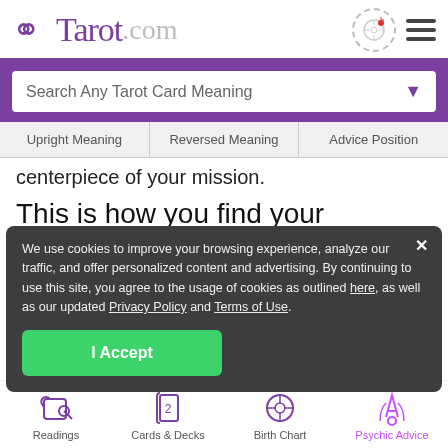Tarot.com
Search Any Tarot Card Meaning
Upright Meaning | Reversed Meaning | Advice Position
centerpiece of your mission.
This is how you find your livelihood and establish your path of service.
We use cookies to improve your browsing experience, analyze our traffic, and offer personalized content and advertising. By continuing to use this site, you agree to the usage of cookies as outlined here, as well as our updated Privacy Policy and Terms of Use.
See if the Five of Wands Tarot card appears for
g now »
Readings | Cards & Decks | Birth Chart | Psychic Advice